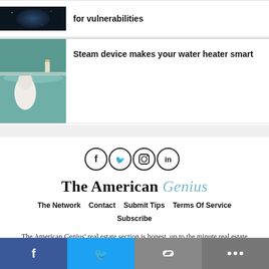[Figure (photo): Dark space/technology themed image (partially visible at top)]
for vulnerabilities
[Figure (photo): Bathroom/spa scene with white towels and a candle on a teal surface]
Steam device makes your water heater smart
[Figure (illustration): Four social media icons in circles: Facebook (f), Twitter (bird), Instagram, LinkedIn (in)]
The American Genius
The Network   Contact   Submit Tips   Terms Of Service   Subscribe
The American Genius' real estate section is honest, up to the minute real estate industry news crafted for industry practitioners - we cut through the pay-to-play news fluff to bring you what's happening behind closed doors, what's meaningful to your practice, and what to expect in the future. We keep you competitive, and save. The
[Figure (infographic): Social share bar at bottom with Facebook (blue), Twitter (blue), link icon (gray), and more/dots (dark gray) buttons]